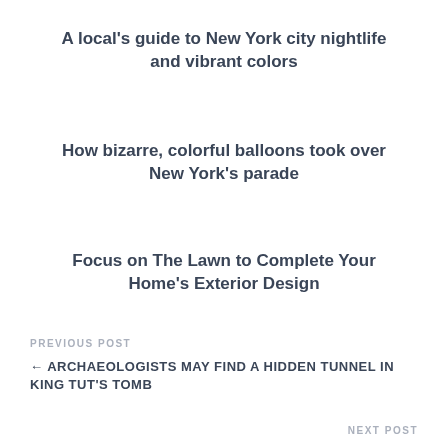A local's guide to New York city nightlife and vibrant colors
How bizarre, colorful balloons took over New York's parade
Focus on The Lawn to Complete Your Home's Exterior Design
PREVIOUS POST
← ARCHAEOLOGISTS MAY FIND A HIDDEN TUNNEL IN KING TUT'S TOMB
NEXT POST